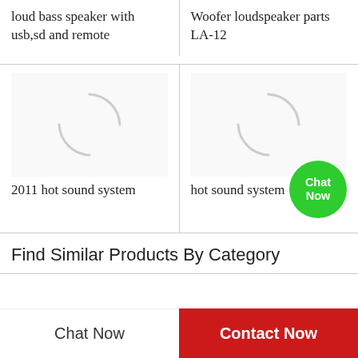loud bass speaker with usb,sd and remote
Woofer loudspeaker parts LA-12
[Figure (illustration): Loading spinner / placeholder image for product left]
[Figure (illustration): Loading spinner / placeholder image for product right]
2011 hot sound system
hot sound system
Chat Now
Find Similar Products By Category
Chat Now
Contact Now